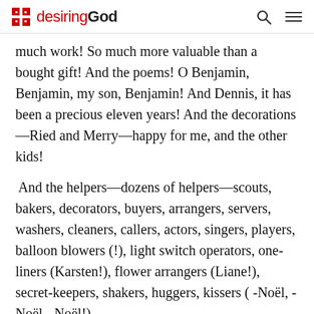desiringGod
much work! So much more valuable than a bought gift! And the poems! O Benjamin, Benjamin, my son, Benjamin! And Dennis, it has been a precious eleven years! And the decorations—Ried and Merry—happy for me, and the other kids!
And the helpers—dozens of helpers—scouts, bakers, decorators, buyers, arrangers, servers, washers, cleaners, callers, actors, singers, players, balloon blowers (!), light switch operators, one-liners (Karsten!), flower arrangers (Liane!), secret-keepers, shakers, huggers, kissers ( -Noël, -Noël, -Noël!).